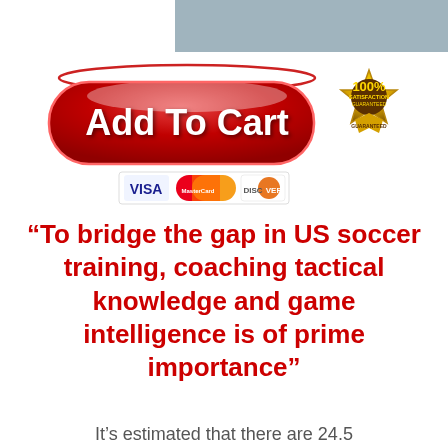[Figure (illustration): Add To Cart button with red glossy pill shape, 100% Satisfaction Guaranteed badge, and payment icons (Visa, MasterCard, Discover)]
“To bridge the gap in US soccer training, coaching tactical knowledge and game intelligence is of prime importance”
It’s estimated that there are 24.5